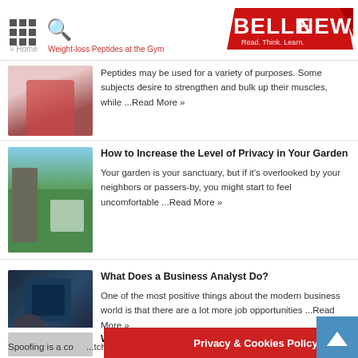BELLENEWS - Read. Think. Learn.
Peptides may be used for a variety of purposes. Some subjects desire to strengthen and bulk up their muscles, while ...Read More »
How to Increase the Level of Privacy in Your Garden
Your garden is your sanctuary, but if it's overlooked by your neighbors or passers-by, you might start to feel uncomfortable ...Read More »
What Does a Business Analyst Do?
One of the most positive things about the modern business world is that there are a lot more job opportunities ...Read More »
What is Spoofing?
Spoofing is a co... ...tch many people
Privacy & Cookies Policy